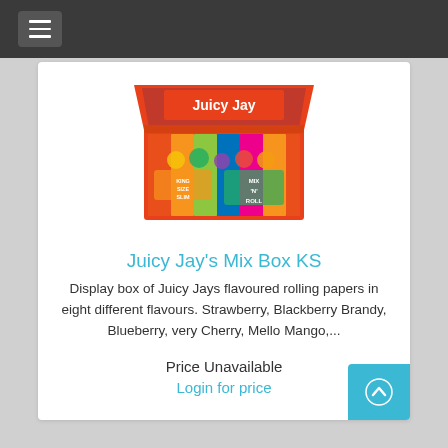[Figure (photo): Juicy Jay's Mix Box KS product photo showing a display box of flavoured rolling papers with colorful fruit imagery]
Juicy Jay's Mix Box KS
Display box of Juicy Jays flavoured rolling papers in eight different flavours. Strawberry, Blackberry Brandy, Blueberry, very Cherry, Mello Mango,...
Price Unavailable
Login for price